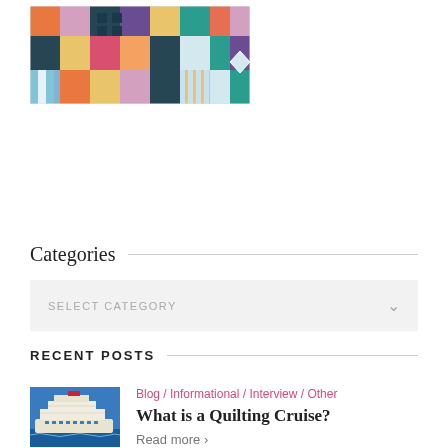[Figure (illustration): A colorful patchwork quilt with various geometric shapes and patterns in bright colors including orange, teal, red, yellow, pink, and blue.]
Categories
SELECT CATEGORY
RECENT POSTS
[Figure (photo): Aerial photo of a large cruise ship on blue ocean water.]
Blog / Informational / Interview / Other
What is a Quilting Cruise?
Read more >